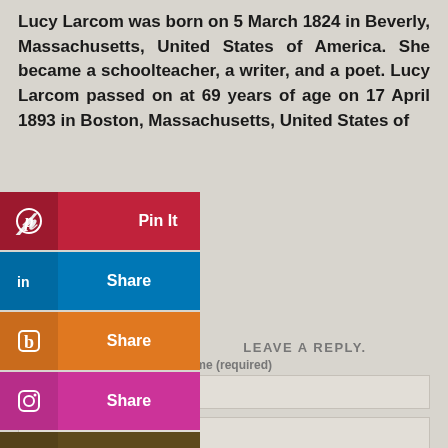Lucy Larcom was born on 5 March 1824 in Beverly, Massachusetts, United States of America. She became a schoolteacher, a writer, and a poet. Lucy Larcom passed on at 69 years of age on 17 April 1893 in Boston, Massachusetts, United States of
[Figure (screenshot): Social media share buttons overlay: Pinterest Pin It (red), LinkedIn Share (blue), Blogger Share (orange), Instagram Share (pink/magenta), Goodreads (dark olive), Tumblr (dark blue), More (gray)]
LEAVE A REPLY.
Name (required)
(not published)
Website